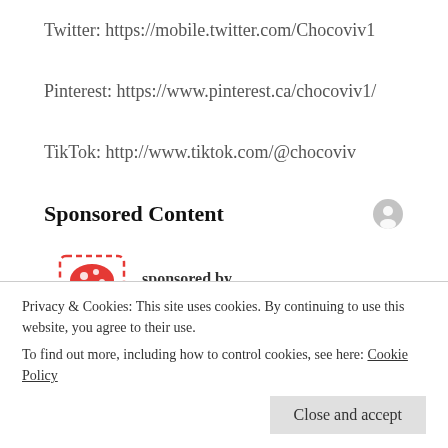Twitter: https://mobile.twitter.com/Chocoviv1
Pinterest: https://www.pinterest.ca/chocoviv1/
TikTok: http://www.tiktok.com/@chocoviv
Sponsored Content
[Figure (logo): Picture Mushroom logo with dashed red border outline around a red mushroom icon, with text 'sponsored by' and 'Picture Mushroom']
Privacy & Cookies: This site uses cookies. By continuing to use this website, you agree to their use.
To find out more, including how to control cookies, see here: Cookie Policy